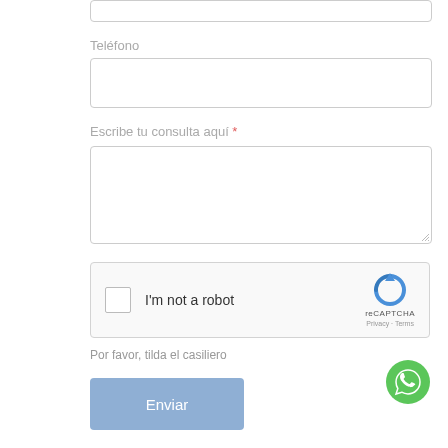[Figure (screenshot): Top input box (partially visible, no label)]
Teléfono
[Figure (screenshot): Teléfono input field]
Escribe tu consulta aquí *
[Figure (screenshot): Textarea for consulta]
[Figure (screenshot): reCAPTCHA widget: checkbox and I'm not a robot label]
Por favor, tilda el casiliero
[Figure (screenshot): Enviar submit button]
[Figure (illustration): WhatsApp green circle icon in bottom right]